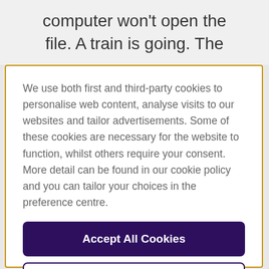computer won't open the file. A train is going. The
We use both first and third-party cookies to personalise web content, analyse visits to our websites and tailor advertisements. Some of these cookies are necessary for the website to function, whilst others require your consent. More detail can be found in our cookie policy and you can tailor your choices in the preference centre.
Accept All Cookies
Cookies Settings